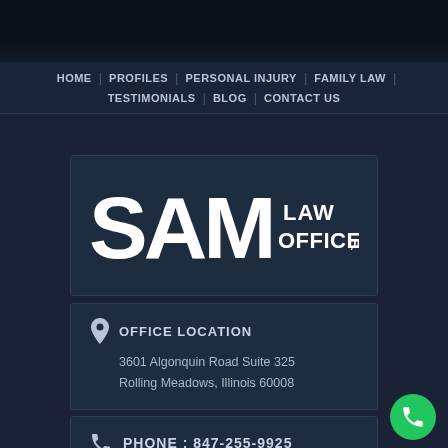[Figure (screenshot): Dark photo banner at top of law firm website]
HOME | PROFILES | PERSONAL INJURY | FAMILY LAW | TESTIMONIALS | BLOG | CONTACT US
[Figure (logo): SAM LAW OFFICE, llc logo — large bold SAM letters with LAW OFFICE llc text beside it, white on dark navy background]
OFFICE LOCATION
3601 Algonquin Road Suite 325
Rolling Meadows, Illinois 60008
PHONE : 847-255-9925